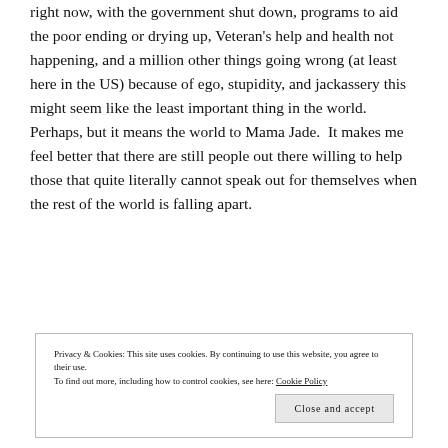right now, with the government shut down, programs to aid the poor ending or drying up, Veteran's help and health not happening, and a million other things going wrong (at least here in the US) because of ego, stupidity, and jackassery this might seem like the least important thing in the world.  Perhaps, but it means the world to Mama Jade.  It makes me feel better that there are still people out there willing to help those that quite literally cannot speak out for themselves when the rest of the world is falling apart.
Privacy & Cookies: This site uses cookies. By continuing to use this website, you agree to their use. To find out more, including how to control cookies, see here: Cookie Policy
Close and accept